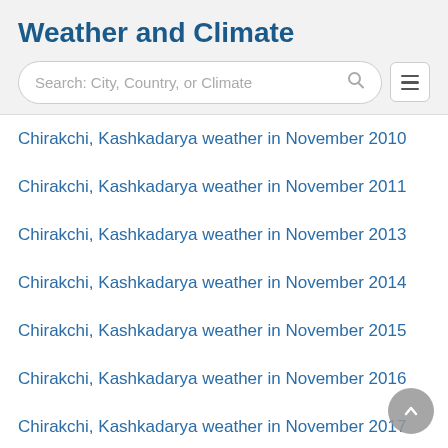Weather and Climate
[Figure (screenshot): Search bar with placeholder text 'Search: City, Country, or Climate' and a hamburger menu button]
Chirakchi, Kashkadarya weather in November 2010
Chirakchi, Kashkadarya weather in November 2011
Chirakchi, Kashkadarya weather in November 2013
Chirakchi, Kashkadarya weather in November 2014
Chirakchi, Kashkadarya weather in November 2015
Chirakchi, Kashkadarya weather in November 2016
Chirakchi, Kashkadarya weather in November 2017
Chirakchi, Kashkadarya weather in November 2018
Chirakchi, Kashkadarya weather in November 2019